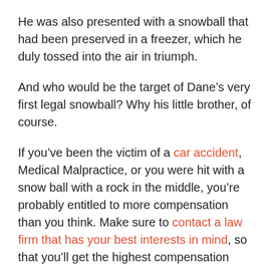He was also presented with a snowball that had been preserved in a freezer, which he duly tossed into the air in triumph.
And who would be the target of Dane’s very first legal snowball? Why his little brother, of course.
If you’ve been the victim of a car accident, Medical Malpractice, or you were hit with a snow ball with a rock in the middle, you’re probably entitled to more compensation than you think. Make sure to contact a law firm that has your best interests in mind, so that you’ll get the highest compensation possible.